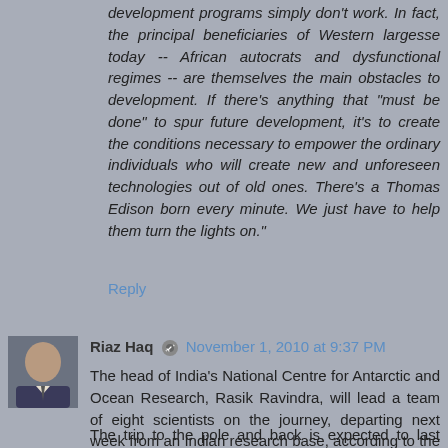development programs simply don't work. In fact, the principal beneficiaries of Western largesse today -- African autocrats and dysfunctional regimes -- are themselves the main obstacles to development. If there's anything that "must be done" to spur future development, it's to create the conditions necessary to empower the ordinary individuals who will create new and unforeseen technologies out of old ones. There's a Thomas Edison born every minute. We just have to help them turn the lights on."
Reply
Riaz Haq  November 1, 2010 at 9:37 PM
The head of India's National Centre for Antarctic and Ocean Research, Rasik Ravindra, will lead a team of eight scientists on the journey, departing next week from an Indian research base, according to the BBC.
The trip to the pole and back is expected to last around 40 days.